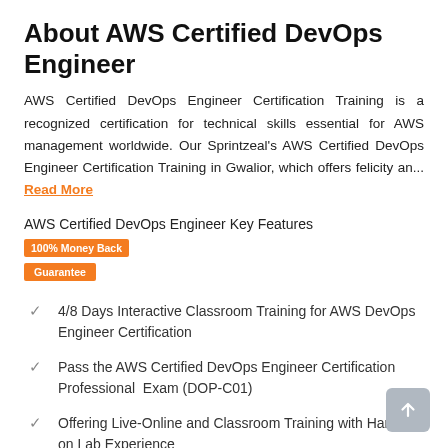About AWS Certified DevOps Engineer
AWS Certified DevOps Engineer Certification Training is a recognized certification for technical skills essential for AWS management worldwide. Our Sprintzeal's AWS Certified DevOps Engineer Certification Training in Gwalior, which offers felicity an... Read More
AWS Certified DevOps Engineer Key Features  100% Money Back Guarantee
4/8 Days Interactive Classroom Training for AWS DevOps Engineer Certification
Pass the AWS Certified DevOps Engineer Certification Professional Exam (DOP-C01)
Offering Live-Online and Classroom Training with Hands-on Lab Experience